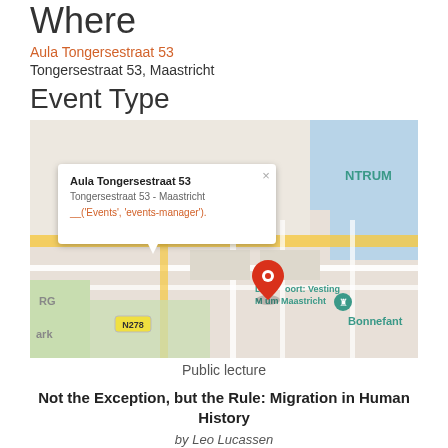Where
Aula Tongersestraat 53
Tongersestraat 53, Maastricht
Event Type
[Figure (map): Google Maps screenshot showing location of Aula Tongersestraat 53 in Maastricht, with a red map pin marker and a popup tooltip showing the venue name and address. Nearby landmarks visible include De Bosspoort: Vesting Museum Maastricht, Bonnefant, N278 road, and NTRUM district.]
Public lecture
Not the Exception, but the Rule: Migration in Human History
by Leo Lucassen